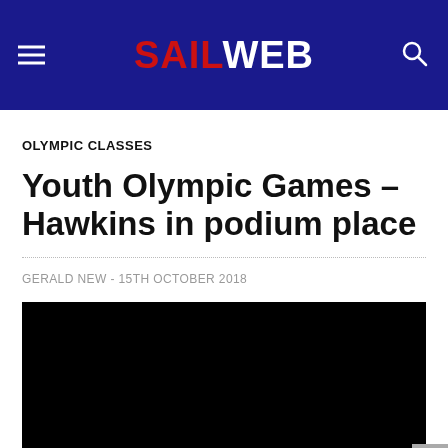SAILWEB
OLYMPIC CLASSES
Youth Olympic Games – Hawkins in podium place
GERALD NEW  -  15TH OCTOBER 2018
[Figure (photo): Black image placeholder for article photo]